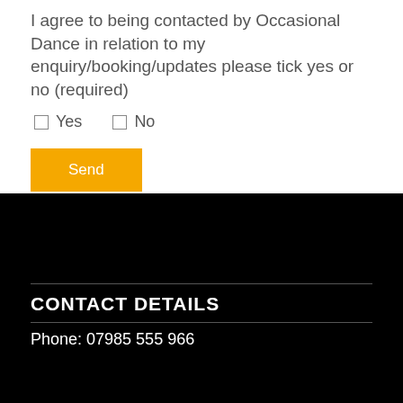I agree to being contacted by Occasional Dance in relation to my enquiry/booking/updates please tick yes or no (required)
☐ Yes   ☐ No
Send
CONTACT DETAILS
Phone: 07985 555 966